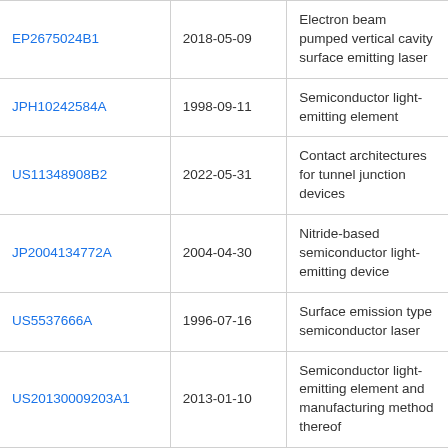| EP2675024B1 | 2018-05-09 | Electron beam pumped vertical cavity surface emitting laser |
| JPH10242584A | 1998-09-11 | Semiconductor light-emitting element |
| US11348908B2 | 2022-05-31 | Contact architectures for tunnel junction devices |
| JP2004134772A | 2004-04-30 | Nitride-based semiconductor light-emitting device |
| US5537666A | 1996-07-16 | Surface emission type semiconductor laser |
| US20130009203A1 | 2013-01-10 | Semiconductor light-emitting element and manufacturing method thereof |
| US20060284163A1 | 2006-12-21 | Single ELOG growth transverse p-n junction nitride semiconductor laser |